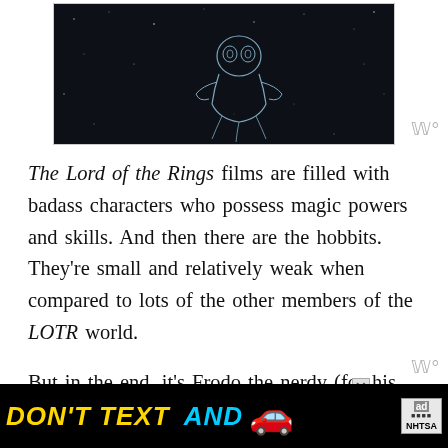[Figure (illustration): Dark background illustration with a white line drawing of what appears to be an astronaut or space-related figure, with small white dots resembling stars scattered throughout the dark background.]
The Lord of the Rings films are filled with badass characters who possess magic powers and skills. And then there are the hobbits. They're small and relatively weak when compared to lots of the other members of the LOTR world.
But in the end, it's Frodo the nerdy (for his world) hobbit who needs to step up and save the
[Figure (screenshot): Advertisement banner: DON'T TEXT AND [car emoji] with NHTSA branding and ad label. Yellow and cyan text on black background.]